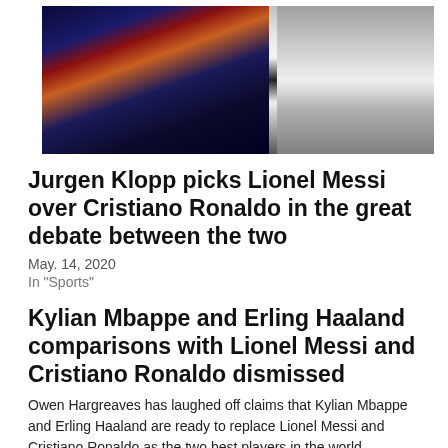[Figure (photo): Two side-by-side sports photos: left shows Lionel Messi in FC Barcelona kit being embraced, right shows Cristiano Ronaldo in Juventus kit]
Jurgen Klopp picks Lionel Messi over Cristiano Ronaldo in the great debate between the two
May. 14, 2020
In "Sports"
Kylian Mbappe and Erling Haaland comparisons with Lionel Messi and Cristiano Ronaldo dismissed
Owen Hargreaves has laughed off claims that Kylian Mbappe and Erling Haaland are ready to replace Lionel Messi and Cristiano Ronaldo as the two best players in the world. Mbappe and Haaland have inspired their Paris Saint-Germain and Dortmund sides to the quarter-finals of
Mar. 11, 2021